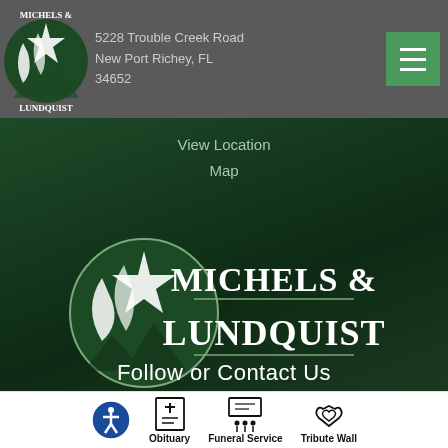5228 Trouble Creek Road
New Port Richey, FL
34652
View Location Map
[Figure (logo): Michels & Lundquist funeral home logo — large version centered on dark green background]
Follow or Contact Us
[Figure (infographic): Bottom navigation bar with accessibility icon, Obituary icon, Funeral Service icon, and Tribute Wall icon]